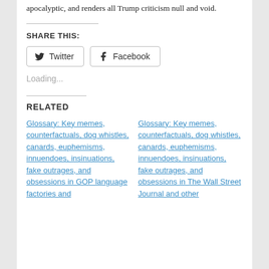apocalyptic, and renders all Trump criticism null and void.
SHARE THIS:
Twitter  Facebook
Loading...
RELATED
Glossary: Key memes, counterfactuals, dog whistles, canards, euphemisms, innuendoes, insinuations, fake outrages, and obsessions in GOP language factories and
Glossary: Key memes, counterfactuals, dog whistles, canards, euphemisms, innuendoes, insinuations, fake outrages, and obsessions in The Wall Street Journal and other